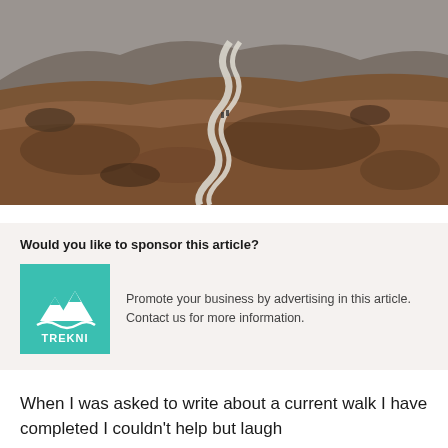[Figure (photo): Aerial view of a winding path/boardwalk cutting through a vast brownish moorland or highland landscape with rocky hills in the background. A few people are visible on the path.]
Would you like to sponsor this article?
[Figure (logo): TREKNI logo — teal/turquoise square background with white mountain peaks icon and white text 'TREKNI' below]
Promote your business by advertising in this article. Contact us for more information.
When I was asked to write about a current walk I have completed I couldn't help but laugh